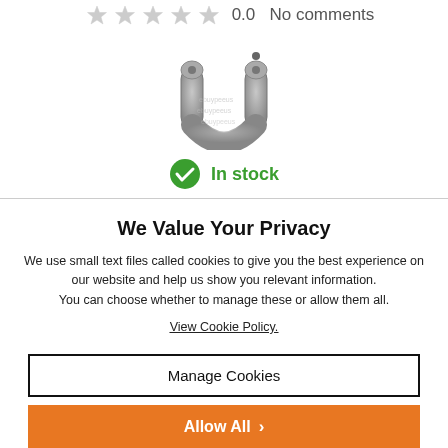[Figure (photo): Gray metal U-shaped hook/bracket product image with two mounting holes, shown on white background with faint watermark text]
0.0   No comments
In stock
We Value Your Privacy
We use small text files called cookies to give you the best experience on our website and help us show you relevant information. You can choose whether to manage these or allow them all. View Cookie Policy.
Manage Cookies
Allow All >